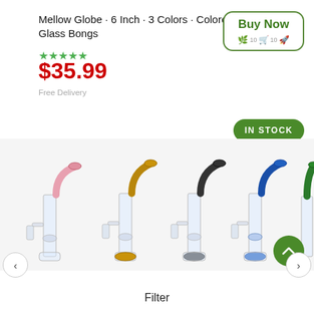Mellow Globe · 6 Inch · 3 Colors · Colored Small Glass Bongs
★★★★★
$35.99
Free Delivery
[Figure (other): Buy Now button with green rounded border, icons for shipping/cart/rocket]
[Figure (other): IN STOCK green pill button]
[Figure (photo): Five small glass bongs with colored tops (pink, gold, black, blue, green) arranged in a row with watermark text overlay]
Filter